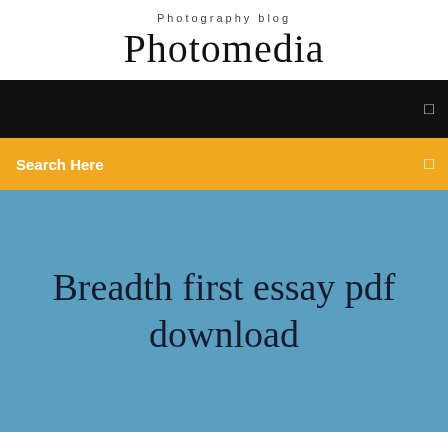Photography blog
Photomedia
[Figure (other): Black navigation bar with a small square icon on the right]
Search Here
Breadth first essay pdf download